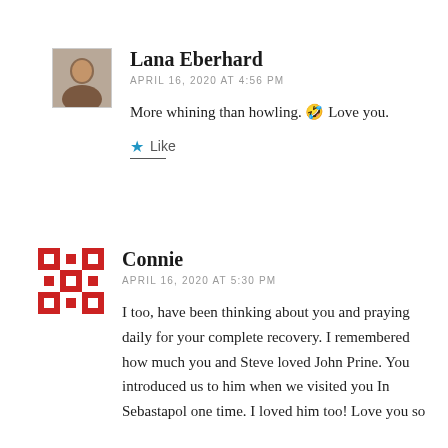[Figure (photo): Small square avatar photo of Lana Eberhard, a person with brown tones]
Lana Eberhard
APRIL 16, 2020 AT 4:56 PM
More whining than howling. 🤣 Love you.
★ Like
[Figure (illustration): Red and white geometric patterned avatar for Connie]
Connie
APRIL 16, 2020 AT 5:30 PM
I too, have been thinking about you and praying daily for your complete recovery. I remembered how much you and Steve loved John Prine. You introduced us to him when we visited you In Sebastapol one time. I loved him too! Love you so